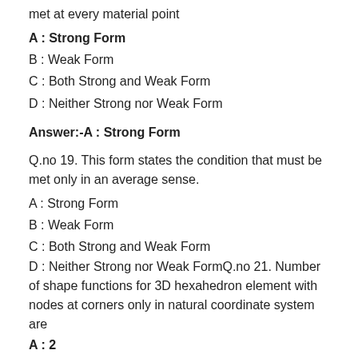met at every material point
A : Strong Form
B : Weak Form
C : Both Strong and Weak Form
D : Neither Strong nor Weak Form
Answer:-A : Strong Form
Q.no 19. This form states the condition that must be met only in an average sense.
A : Strong Form
B : Weak Form
C : Both Strong and Weak Form
D : Neither Strong nor Weak FormQ.no 21. Number of shape functions for 3D hexahedron element with nodes at corners only in natural coordinate system are
A : 2
B : 4
C : 6
D : 8